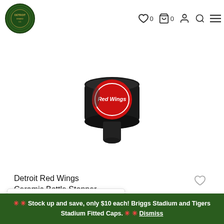Detroit Brand store header with logo, wishlist (0), cart (0), account, search, and menu icons
[Figure (photo): Detroit Red Wings ceramic bottle stopper - black cylindrical stopper with red Detroit Red Wings logo on top, photographed on white background]
Detroit Red Wings Ceramic Bottle Stopper
$9.99
[Figure (other): Google review widget showing 4.7 rating with 5 orange stars and Google logo]
ADD TO CART
🔴 🔴 Stock up and save, only $10 each! Briggs Stadium and Tigers Stadium Fitted Caps. 🔴 🔴 Dismiss